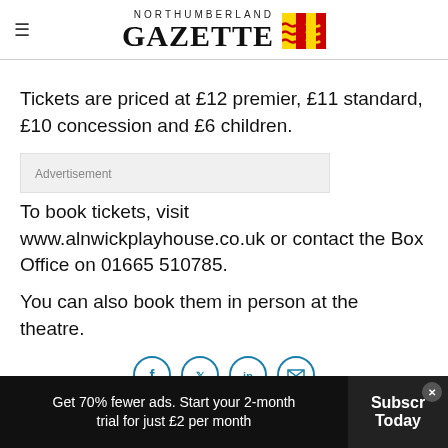NORTHUMBERLAND GAZETTE
Tickets are priced at £12 premier, £11 standard, £10 concession and £6 children.
Advertisement
To book tickets, visit www.alnwickplayhouse.co.uk or contact the Box Office on 01665 510785.
You can also book them in person at the theatre.
Get 70% fewer ads. Start your 2-month trial for just £2 per month  Subscribe Today